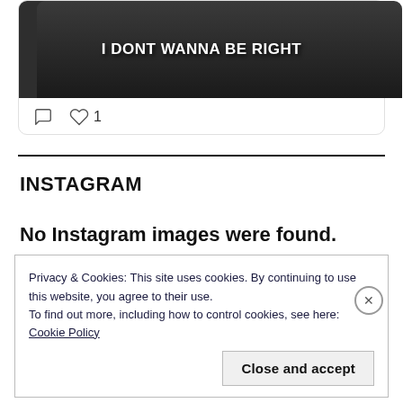[Figure (screenshot): Social media card showing a dark image with bold white text reading 'I DONT WANNA BE RIGHT', with comment and like (1) icons below]
INSTAGRAM
No Instagram images were found.
Privacy & Cookies: This site uses cookies. By continuing to use this website, you agree to their use.
To find out more, including how to control cookies, see here: Cookie Policy